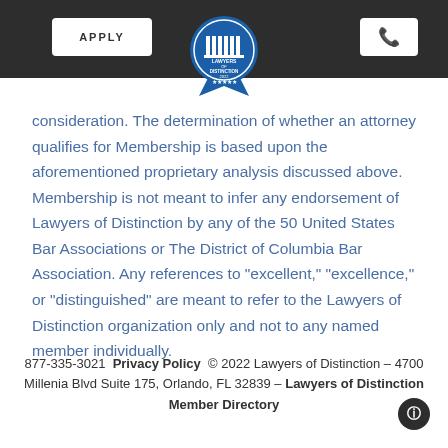APPLY | [Lawyers of Distinction badge] | [phone icon]
consideration. The determination of whether an attorney qualifies for Membership is based upon the aforementioned proprietary analysis discussed above. Membership is not meant to infer any endorsement of Lawyers of Distinction by any of the 50 United States Bar Associations or The District of Columbia Bar Association. Any references to “excellent,” “excellence,” or “distinguished” are meant to refer to the Lawyers of Distinction organization only and not to any named member individually.
877-335-3021 Privacy Policy © 2022 Lawyers of Distinction – 4700 Millenia Blvd Suite 175, Orlando, FL 32839 – Lawyers of Distinction Member Directory